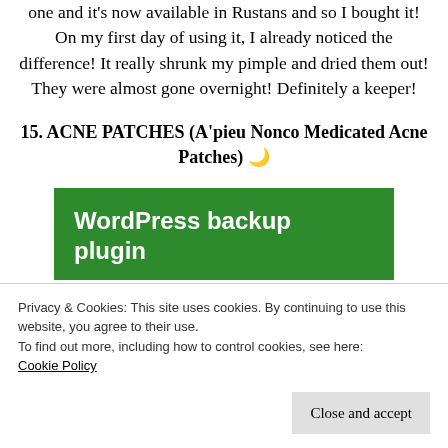one and it's now available in Rustans and so I bought it! On my first day of using it, I already noticed the difference! It really shrunk my pimple and dried them out! They were almost gone overnight! Definitely a keeper!
15. ACNE PATCHES (A'pieu Nonco Medicated Acne Patches) 🌙
[Figure (screenshot): Green banner advertisement for WordPress backup plugin]
Privacy & Cookies: This site uses cookies. By continuing to use this website, you agree to their use.
To find out more, including how to control cookies, see here: Cookie Policy